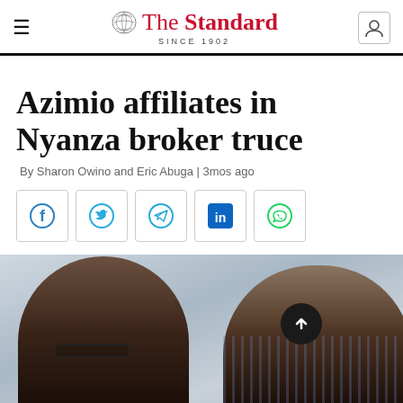The Standard SINCE 1902
Azimio affiliates in Nyanza broker truce
By Sharon Owino and Eric Abuga | 3mos ago
[Figure (infographic): Row of five social media share buttons: Facebook, Twitter, Telegram, LinkedIn, WhatsApp]
[Figure (photo): Two men seated at a table, left man wearing glasses and dark clothes, right man in a blue striped shirt, with a dark scroll-up button overlaid at center-right]